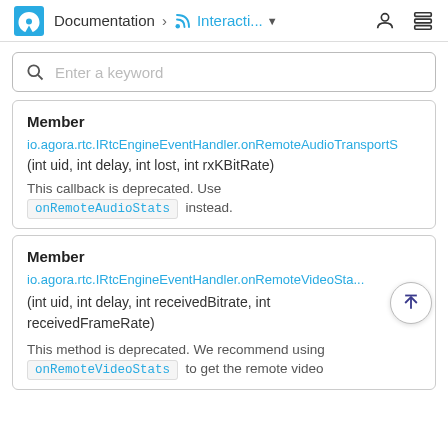Documentation > Interacti...
Enter a keyword
Member
io.agora.rtc.IRtcEngineEventHandler.onRemoteAudioTransportS
(int uid, int delay, int lost, int rxKBitRate)
This callback is deprecated. Use onRemoteAudioStats instead.
Member
io.agora.rtc.IRtcEngineEventHandler.onRemoteVideoSta...
(int uid, int delay, int receivedBitrate, int receivedFrameRate)
This method is deprecated. We recommend using onRemoteVideoStats to get the remote video